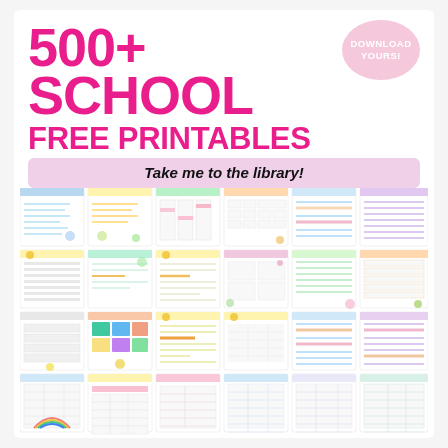500+ SCHOOL FREE PRINTABLES FOR STUDENTS & TEACHERS
DOWNLOAD YOURS!
Take me to the library!
[Figure (illustration): Grid of 24 thumbnail previews of school printable worksheets and planners arranged in 4 rows of 6 columns, showing various templates with colorful headers, lines, tables, and decorative elements]